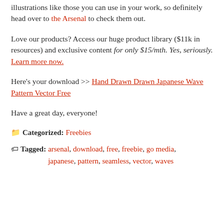illustrations like those you can use in your work, so definitely head over to the Arsenal to check them out.
Love our products? Access our huge product library ($11k in resources) and exclusive content for only $15/mth. Yes, seriously. Learn more now.
Here's your download >> Hand Drawn Drawn Japanese Wave Pattern Vector Free
Have a great day, everyone!
Categorized: Freebies
Tagged: arsenal, download, free, freebie, go media, japanese, pattern, seamless, vector, waves